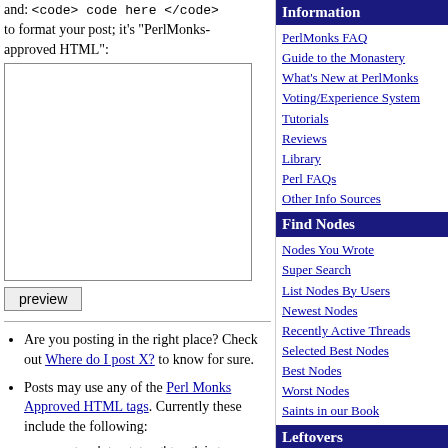and: <code> code here </code> to format your post; it's "PerlMonks-approved HTML":
[Figure (other): Textarea input box for post content]
preview (button)
Are you posting in the right place? Check out Where do I post X? to know for sure.
Posts may use any of the Perl Monks Approved HTML tags. Currently these include the following:
<code> <a> <b> <big> <blockquote> <br /> <dd> <dl> <dt> <em>
Information
PerlMonks FAQ
Guide to the Monastery
What's New at PerlMonks
Voting/Experience System
Tutorials
Reviews
Library
Perl FAQs
Other Info Sources
Find Nodes
Nodes You Wrote
Super Search
List Nodes By Users
Newest Nodes
Recently Active Threads
Selected Best Nodes
Best Nodes
Worst Nodes
Saints in our Book
Leftovers
The St. Larry Wall Shrine
Buy PerlMonks Gear
Offering Plate
Awards
Random Node
Quests
Craft